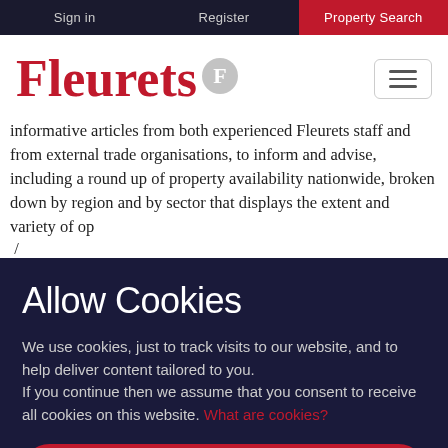Sign in | Register | Property Search
Fleurets
Informative articles from both experienced Fleurets staff and from external trade organisations, to inform and advise, including a round up of property availability nationwide, broken down by region and by sector that displays the extent and variety of op
Allow Cookies
We use cookies, just to track visits to our website, and to help deliver content tailored to you.
If you continue then we assume that you consent to receive all cookies on this website. What are cookies?
Accept Cookies